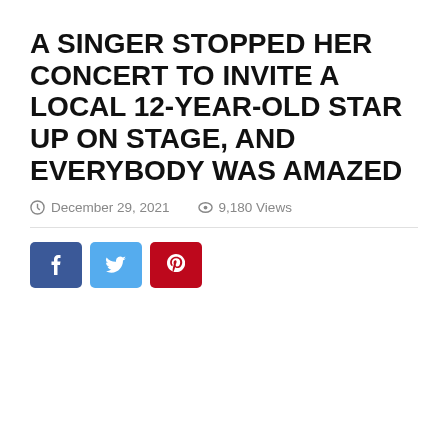A SINGER STOPPED HER CONCERT TO INVITE A LOCAL 12-YEAR-OLD STAR UP ON STAGE, AND EVERYBODY WAS AMAZED
December 29, 2021   9,180 Views
[Figure (other): Social sharing buttons: Facebook (blue), Twitter (light blue), Pinterest (red)]